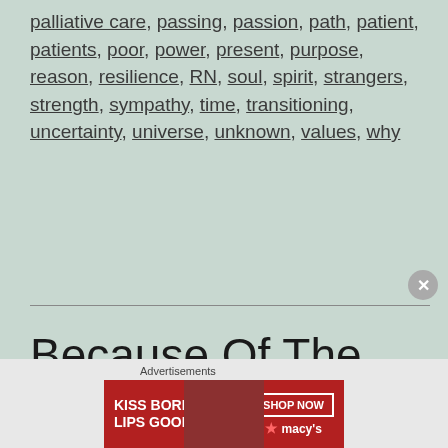palliative care, passing, passion, path, patient, patients, poor, power, present, purpose, reason, resilience, RN, soul, spirit, strangers, strength, sympathy, time, transitioning, uncertainty, universe, unknown, values, why
Because Of The Heart
[Figure (other): Advertisement banner: Kiss Boring Lips Goodbye - Macy's Shop Now]